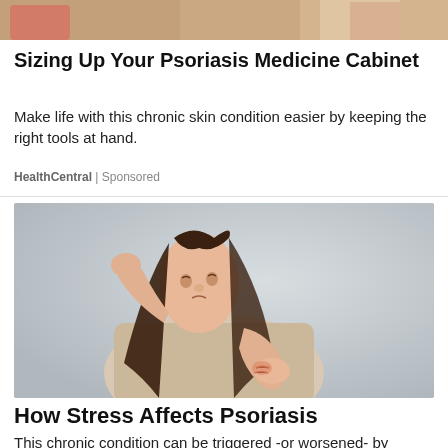[Figure (photo): Top partial image showing people, cropped at top of page]
Sizing Up Your Psoriasis Medicine Cabinet
Make life with this chronic skin condition easier by keeping the right tools at hand.
HealthCentral | Sponsored
[Figure (photo): Woman in beige sweater scratching her arm, appearing to be in discomfort, against a light grey background]
How Stress Affects Psoriasis
This chronic condition can be triggered -or worsened- by